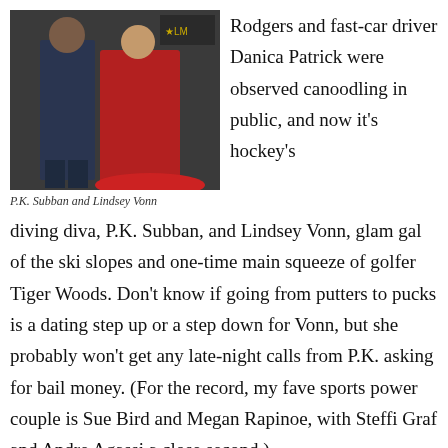[Figure (photo): A man in a dark suit and a woman in a red gown posing together at an event]
P.K. Subban and Lindsey Vonn
Rodgers and fast-car driver Danica Patrick were observed canoodling in public, and now it's hockey's diving diva, P.K. Subban, and Lindsey Vonn, glam gal of the ski slopes and one-time main squeeze of golfer Tiger Woods. Don't know if going from putters to pucks is a dating step up or a step down for Vonn, but she probably won't get any late-night calls from P.K. asking for bail money. (For the record, my fave sports power couple is Sue Bird and Megan Rapinoe, with Steffi Graf and Andre Agassi a close second.)